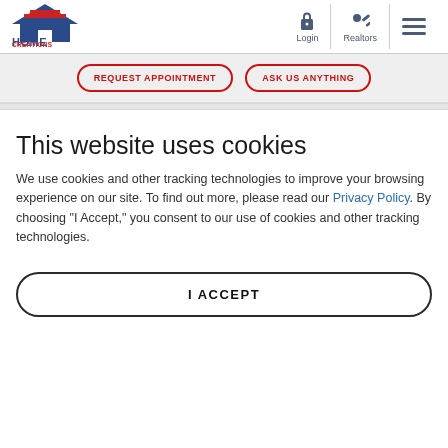[Figure (logo): Home Creations logo with house icon (blue roof, red stripes) and text 'HOME CREATIONS' in blue and red]
[Figure (infographic): Navigation icons: padlock icon labeled 'Login', key icon labeled 'Realtors', and hamburger menu icon]
REQUEST APPOINTMENT
ASK US ANYTHING
This website uses cookies
We use cookies and other tracking technologies to improve your browsing experience on our site. To find out more, please read our Privacy Policy. By choosing "I Accept," you consent to our use of cookies and other tracking technologies.
I ACCEPT